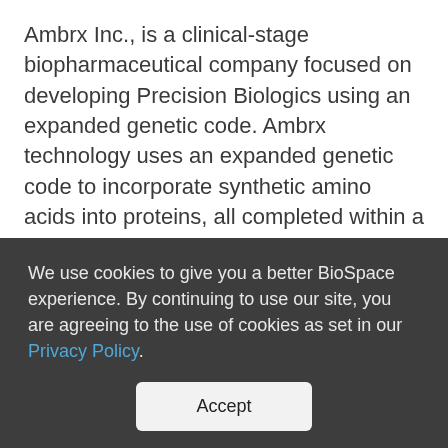Ambrx Inc., is a clinical-stage biopharmaceutical company focused on developing Precision Biologics using an expanded genetic code. Ambrx technology uses an expanded genetic code to incorporate synthetic amino acids into proteins, all completed within a living cell. These synthetic amino acids enable the creation of Precision Biologics, an exciting new class of therapeutics with broad application and potential. This includes next-generation antibody drug conjugates (ADCs), bispecifics, targeted immuno-oncology therapies, immunomodulatory
We use cookies to give you a better BioSpace experience. By continuing to use our site, you are agreeing to the use of cookies as set in our Privacy Policy.
Accept